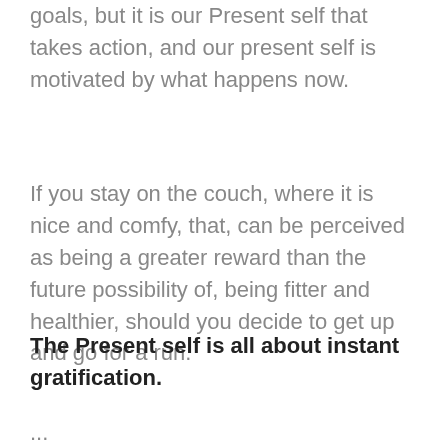goals, but it is our Present self that takes action, and our present self is motivated by what happens now.
If you stay on the couch, where it is nice and comfy, that, can be perceived as being a greater reward than the future possibility of, being fitter and healthier, should you decide to get up and go for a run.
The Present self is all about instant gratification.
...